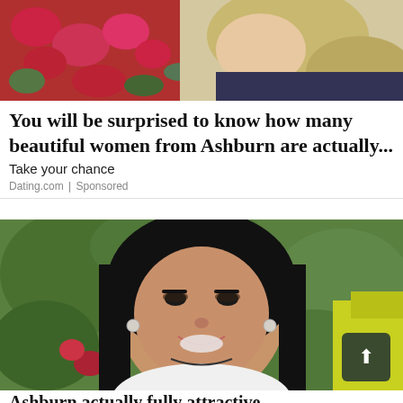[Figure (photo): Top portion of a photo showing a woman with blonde hair near red flowers, cropped heavily, only the upper portion visible]
You will be surprised to know how many beautiful women from Ashburn are actually...
Take your chance
Dating.com | Sponsored
[Figure (photo): Portrait photo of a young woman with long black hair, smiling, wearing white, with green foliage and yellow jacket visible in background. A dark green scroll-to-top button with an up arrow icon is overlaid in the bottom right.]
Ashburn actually fully attractive...